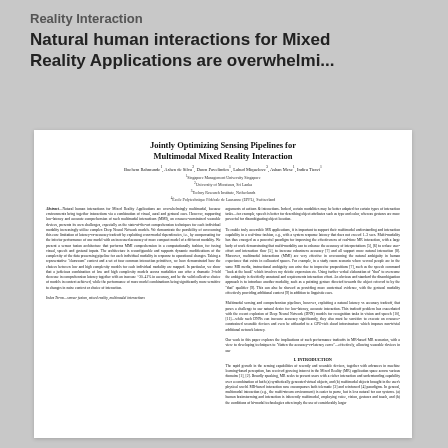Reality Interaction
Natural human interactions for Mixed Reality Applications are overwhelmi...
[Figure (screenshot): Scanned academic paper: 'Jointly Optimizing Sensing Pipelines for Multimodal Mixed Reality Interaction' with authors, affiliations, abstract in two columns, and introduction section.]